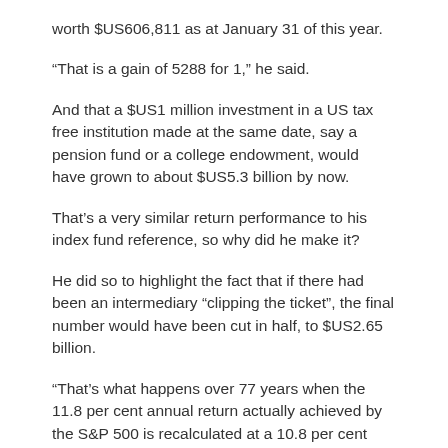worth $US606,811 as at January 31 of this year.
“That is a gain of 5288 for 1,” he said.
And that a $US1 million investment in a US tax free institution made at the same date, say a pension fund or a college endowment, would have grown to about $US5.3 billion by now.
That’s a very similar return performance to his index fund reference, so why did he make it?
He did so to highlight the fact that if there had been an intermediary “clipping the ticket”, the final number would have been cut in half, to $US2.65 billion.
“That’s what happens over 77 years when the 11.8 per cent annual return actually achieved by the S&P 500 is recalculated at a 10.8 per cent return,” he noted.